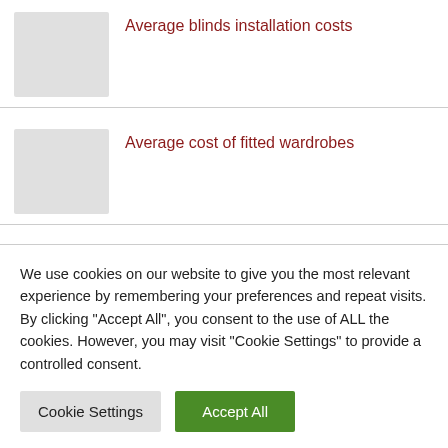Average blinds installation costs
Average cost of fitted wardrobes
Average damp proofing costs
We use cookies on our website to give you the most relevant experience by remembering your preferences and repeat visits. By clicking “Accept All”, you consent to the use of ALL the cookies. However, you may visit "Cookie Settings" to provide a controlled consent.